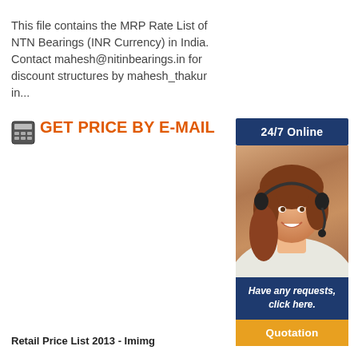This file contains the MRP Rate List of NTN Bearings (INR Currency) in India. Contact mahesh@nitinbearings.in for discount structures by mahesh_thakur in...
GET PRICE BY E-MAIL
[Figure (infographic): Right panel with 24/7 Online badge, woman with headset photo, Have any requests click here text, and Quotation button]
Retail Price List 2013 - Imimg